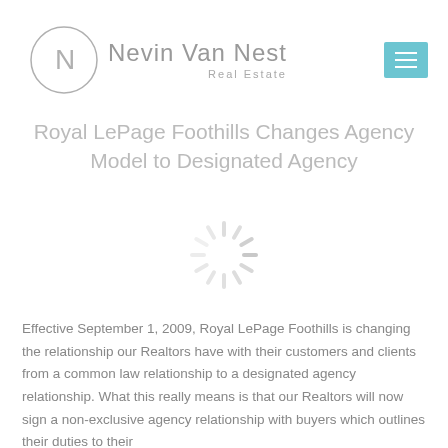Nevin Van Nest Real Estate
Royal LePage Foothills Changes Agency Model to Designated Agency
[Figure (other): Loading spinner / radial loading animation graphic in light gray]
Effective September 1, 2009, Royal LePage Foothills is changing the relationship our Realtors have with their customers and clients from a common law relationship to a designated agency relationship. What this really means is that our Realtors will now sign a non-exclusive agency relationship with buyers which outlines their duties to their